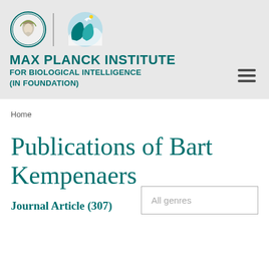[Figure (logo): Max Planck Institute for Biological Intelligence logo with MPG coin emblem and leaf/bird graphic, plus hamburger menu icon]
MAX PLANCK INSTITUTE FOR BIOLOGICAL INTELLIGENCE (IN FOUNDATION)
Home
Publications of Bart Kempenaers
All genres
Journal Article (307)